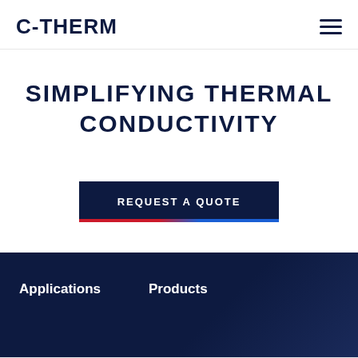C-THERM
SIMPLIFYING THERMAL CONDUCTIVITY
REQUEST A QUOTE
Applications
Products
This website uses cookies to ensure you get the best experience on our website. Learn more
ACCEPT